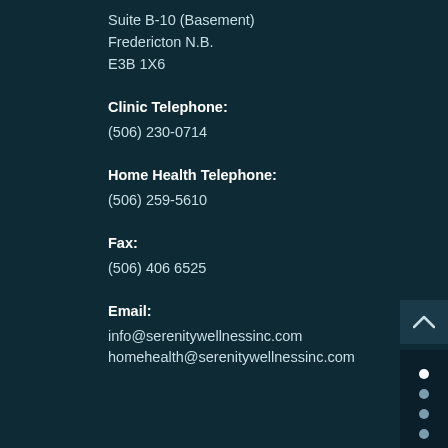Suite B-10 (Basement)
Fredericton N.B.
E3B 1X6
Clinic Telephone:
(506) 230-0714
Home Health Telephone:
(506) 259-5610
Fax:
(506) 406 6525
Email:
info@serenitywellnessinc.com
homehealth@serenitywellnessinc.com